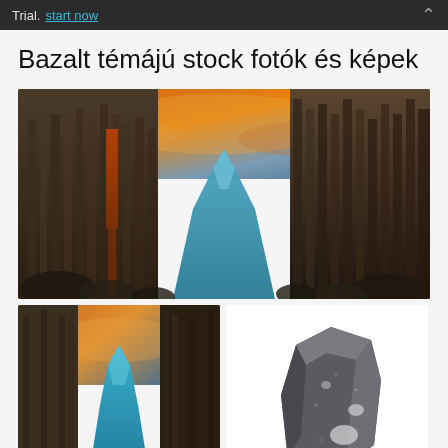Trial. start now
Bazalt témájú stock fotók és képek
[Figure (photo): Dramatic basalt column canyon with a turquoise river flowing through the center, fiery orange and red sky at sunset, rocky basalt walls on both sides]
[Figure (photo): Aerial or wide view of basalt column canyon with turquoise river winding through, warm sunset sky overhead]
[Figure (photo): A dark grey basalt rock specimen photographed on a white background]